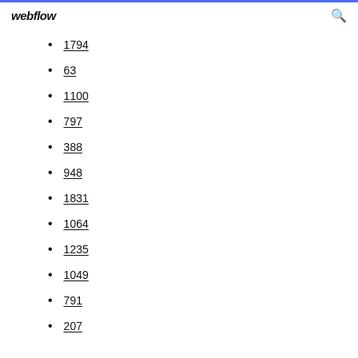webflow
1794
63
1100
797
388
948
1831
1064
1235
1049
791
207